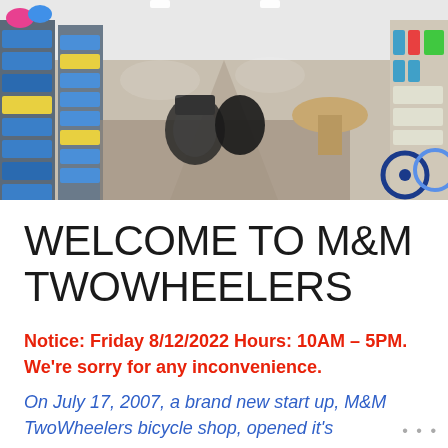[Figure (photo): Interior of M&M TwoWheelers bicycle shop showing shelves of bike accessories, helmets, water bottles, and bicycles on display in a bright retail store.]
WELCOME TO M&M TWOWHEELERS
Notice: Friday 8/12/2022 Hours: 10AM – 5PM. We're sorry for any inconvenience.
On July 17, 2007, a brand new start up, M&M TwoWheelers bicycle shop, opened it's...